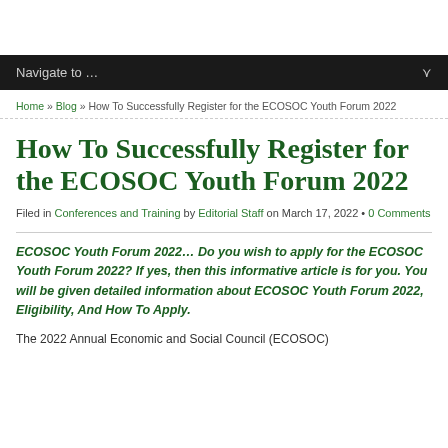Navigate to ...
Home » Blog » How To Successfully Register for the ECOSOC Youth Forum 2022
How To Successfully Register for the ECOSOC Youth Forum 2022
Filed in Conferences and Training by Editorial Staff on March 17, 2022 • 0 Comments
ECOSOC Youth Forum 2022… Do you wish to apply for the ECOSOC Youth Forum 2022? If yes, then this informative article is for you. You will be given detailed information about ECOSOC Youth Forum 2022, Eligibility, And How To Apply.
The 2022 Annual Economic and Social Council (ECOSOC)